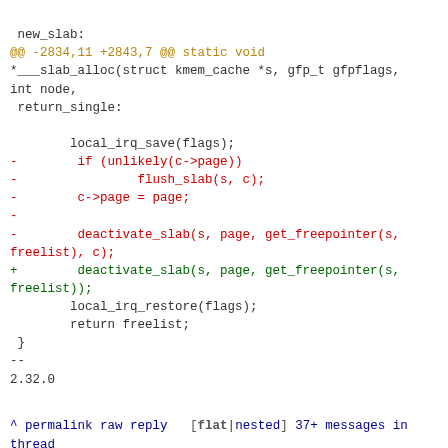new_slab:
@@ -2834,11 +2843,7 @@ static void
*___slab_alloc(struct kmem_cache *s, gfp_t gfpflags, int node,
 return_single:

        local_irq_save(flags);
-        if (unlikely(c->page))
-                flush_slab(s, c);
-        c->page = page;
-
-        deactivate_slab(s, page, get_freepointer(s, freelist), c);
+        deactivate_slab(s, page, get_freepointer(s, freelist));
        local_irq_restore(flags);
        return freelist;
 }
--
2.32.0
^ permalink raw reply   [flat|nested] 37+ messages in thread
* [PATCH v5 20/35] mm, slub: make locking in deactivate_slab() irq-safe
  2021-08-23 14:57 [PATCH v5 00/35] SLUB: reduce irq